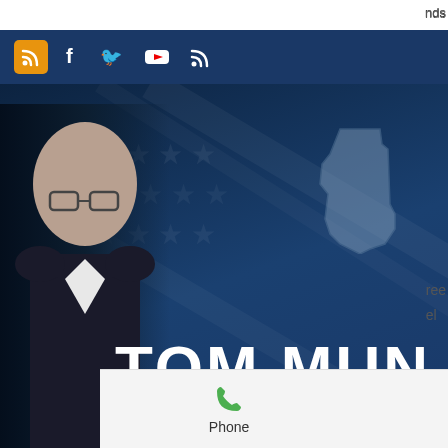[Figure (screenshot): Website screenshot of Tom Munger Idaho Political Talk website showing navigation header with social media icons (RSS, Facebook, Twitter, YouTube, RSS feed) on dark blue background, hamburger menu, hero banner with Idaho state shape silhouette, large text 'TOM MUN' (truncated), subtitle 'IDAHO POLITICAL TALK AND A...' and 'TOMMU...' URL, person photo on left side]
nds
ug
ree
el
slots to multi-line slot. Almost all casinos offer free slots and online casino games to new members and players worldwide. If you want to play free online slots in the uk, our guide will help you find and enjoy free slot
Phone   Email   Facebook